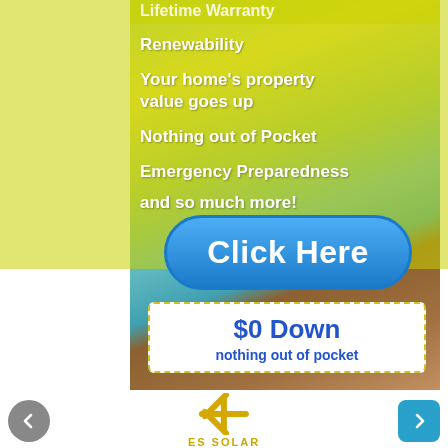[Figure (photo): Background photo of a residential home outdoor area with wooden deck, swimming pool with blue water, and green lawn, overlaid with a yellow-green semi-transparent tint]
Lifetime Warranty
Renewability
Your home's property value goes up
Nothing out of Pocket
Emergency Preparedness
and so much more!
Click Here
$0 Down
nothing out of pocket
[Figure (logo): ES SOLAR logo — a stylized asterisk/snowflake shape in gold/yellow with the text ES SOLAR]